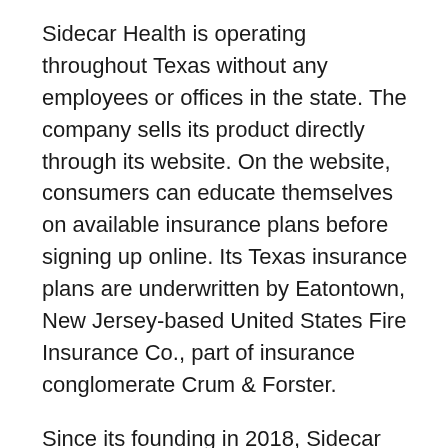Sidecar Health is operating throughout Texas without any employees or offices in the state. The company sells its product directly through its website. On the website, consumers can educate themselves on available insurance plans before signing up online. Its Texas insurance plans are underwritten by Eatontown, New Jersey-based United States Fire Insurance Co., part of insurance conglomerate Crum & Forster.
Since its founding in 2018, Sidecar Health has raised $18 million in funding, led by San Francisco-based GreatPoint Ventures and Los Angeles-based Morpheus Ventures.
The startup's offering "is a great example of taking an otherwise complex process and making it simple, which is why Sidecar Health is such a game changer in health insurance," says Joseph Miller, managing